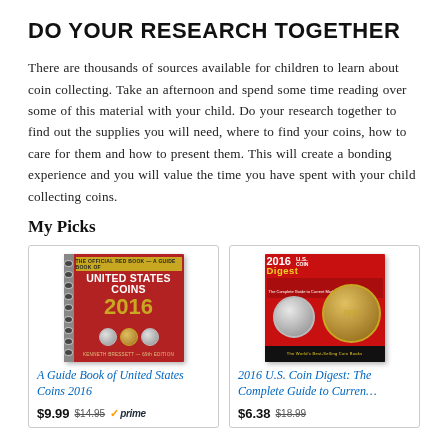DO YOUR RESEARCH TOGETHER
There are thousands of sources available for children to learn about coin collecting. Take an afternoon and spend some time reading over some of this material with your child. Do your research together to find out the supplies you will need, where to find your coins, how to care for them and how to present them. This will create a bonding experience and you will value the time you have spent with your child collecting coins.
My Picks
[Figure (photo): Book cover: A Guide Book of United States Coins 2016, red cover with spiral binding and gold coins]
A Guide Book of United States Coins 2016
$9.99  $14.95  prime
[Figure (photo): Book cover: 2016 U.S. Coin Digest: The Complete Guide to Current Market Values, red cover with Kennedy half dollar coin]
2016 U.S. Coin Digest: The Complete Guide to Curren…
$6.38  $18.99